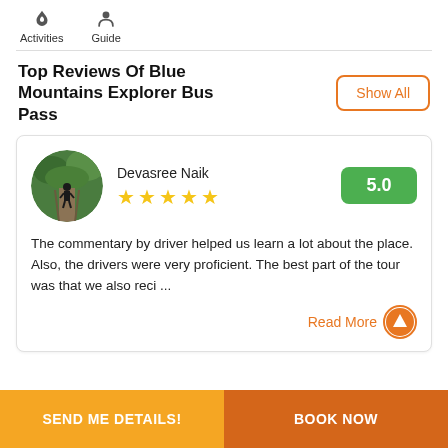Activities  Guide
Top Reviews Of Blue Mountains Explorer Bus Pass
Show All
[Figure (photo): Circular avatar photo of a person walking on a path surrounded by green trees]
Devasree Naik
★★★★★
5.0
The commentary by driver helped us learn a lot about the place. Also, the drivers were very proficient. The best part of the tour was that we also reci ...
Read More
SEND ME DETAILS!  BOOK NOW